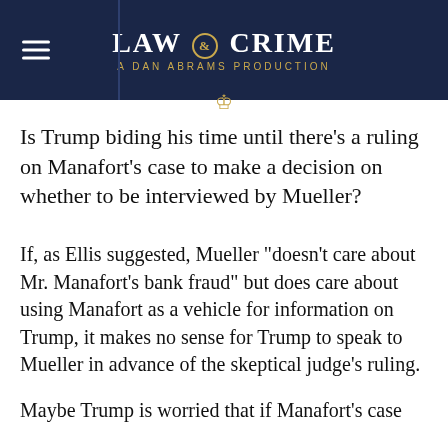LAW & CRIME — A DAN ABRAMS PRODUCTION
Is Trump biding his time until there’s a ruling on Manafort’s case to make a decision on whether to be interviewed by Mueller?
If, as Ellis suggested, Mueller “doesn’t care about Mr. Manafort’s bank fraud” but does care about using Manafort as a vehicle for information on Trump, it makes no sense for Trump to speak to Mueller in advance of the skeptical judge’s ruling.
Maybe Trump is worried that if Manafort’s case